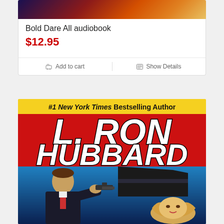[Figure (photo): Top portion of a book cover showing colorful illustration (cropped at top of card)]
Bold Dare All audiobook
$12.95
Add to cart | Show Details
[Figure (photo): Book cover for L. Ron Hubbard with yellow banner reading '#1 New York Times Bestselling Author', large red background with author name 'L. RON HUBBARD' in bold white italic letters, and illustration of a man in a suit holding a gun with a blonde woman below]